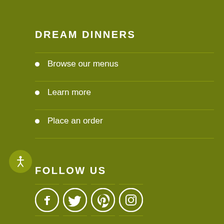DREAM DINNERS
Browse our menus
Learn more
Place an order
FOLLOW US
[Figure (infographic): Social media icons: Facebook, Twitter, Pinterest, Instagram, displayed in white on olive green background with horizontal divider lines above and below each icon]